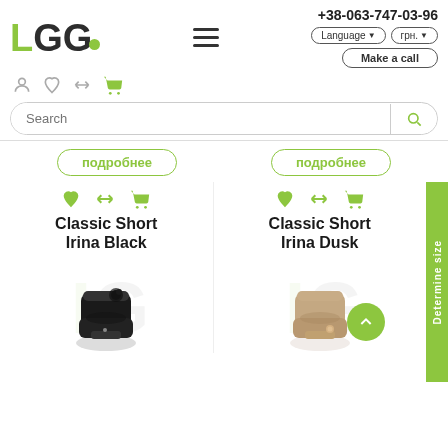[Figure (logo): UGG logo with green L and dark GG letters and green circle]
+38-063-747-03-96
Language ▼   грн. ▼
Make a call
подробнее   подробнее
Classic Short Irina Black
Classic Short Irina Dusk
[Figure (photo): Black UGG Classic Short Irina boot with fur pom-pom]
[Figure (photo): Taupe/dusk UGG Classic Short Irina boot]
Determine size